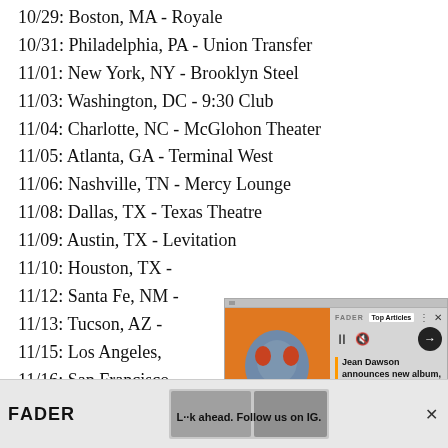10/29: Boston, MA - Royale
10/31: Philadelphia, PA - Union Transfer
11/01: New York, NY - Brooklyn Steel
11/03: Washington, DC - 9:30 Club
11/04: Charlotte, NC - McGlohon Theater
11/05: Atlanta, GA - Terminal West
11/06: Nashville, TN - Mercy Lounge
11/08: Dallas, TX - Texas Theatre
11/09: Austin, TX - Levitation
11/10: Houston, TX - [obscured]
11/12: Santa Fe, NM - [obscured]
11/13: Tucson, AZ - [obscured]
11/15: Los Angeles, CA - [obscured]
11/16: San Francisco, CA - [obscured]
11/18: Portland, OR - [obscured]
11/20: Seattle, WA - [obscured]
[Figure (screenshot): Popup overlay showing 'Top Articles' from FADER with Jean Dawson image and caption 'Jean Dawson announces new album, shares "3 HEADS"']
[Figure (screenshot): Bottom advertisement banner for FADER with text 'L..k ahead. Follow us on IG.' and close button X]